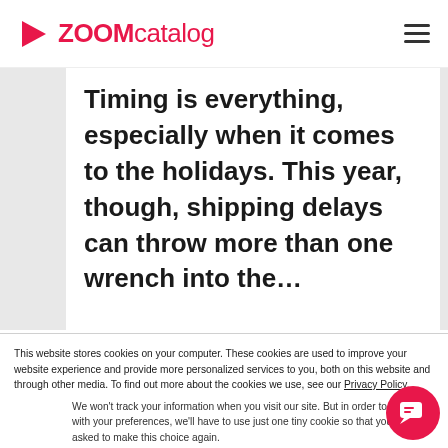ZOOMcatalog
Timing is everything, especially when it comes to the holidays. This year, though, shipping delays can throw more than one wrench into the...
This website stores cookies on your computer. These cookies are used to improve your website experience and provide more personalized services to you, both on this website and through other media. To find out more about the cookies we use, see our Privacy Policy.
We won't track your information when you visit our site. But in order to comply with your preferences, we'll have to use just one tiny cookie so that you're not asked to make this choice again.